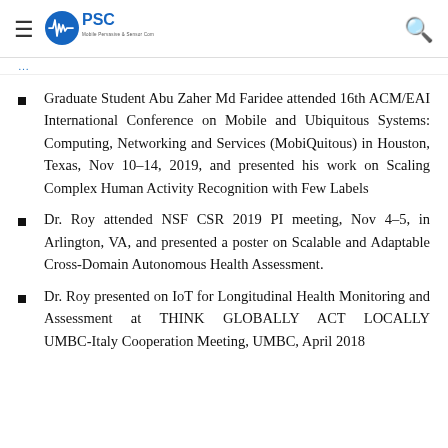PSC — Mobile Pervasive & Sensor Computing Lab
…(partial link/navigation text)…
Graduate Student Abu Zaher Md Faridee attended 16th ACM/EAI International Conference on Mobile and Ubiquitous Systems: Computing, Networking and Services (MobiQuitous) in Houston, Texas, Nov 10-14, 2019, and presented his work on Scaling Complex Human Activity Recognition with Few Labels
Dr. Roy attended NSF CSR 2019 PI meeting, Nov 4-5, in Arlington, VA, and presented a poster on Scalable and Adaptable Cross-Domain Autonomous Health Assessment.
Dr. Roy presented on IoT for Longitudinal Health Monitoring and Assessment at THINK GLOBALLY ACT LOCALLY UMBC-Italy Cooperation Meeting, UMBC, April 2018